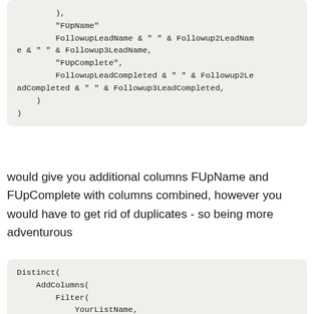),
        "FUpName"
        FollowupLeadName & " " & Followup2LeadName & " " & Followup3LeadName,
        "FUpComplete",
        FollowupLeadCompleted & " " & Followup2LeadCompleted & " " & Followup3LeadCompleted,
    )
)
would give you additional columns FUpName and FUpComplete with columns combined, however you would have to get rid of duplicates - so being more adventurous
Distinct(
    AddColumns(
        Filter(
            YourListName,
            If(
                IsBlank(Text1),